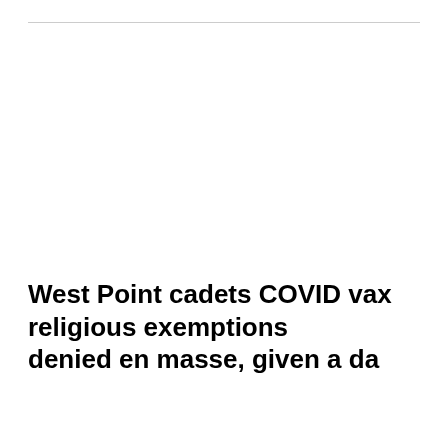West Point cadets COVID vax religious exemptions denied en masse, given a da...
[Figure (screenshot): Video player overlay showing a black loading screen with an Enable audio button and loading indicator dots. A tooltip shows '11 seconds...' above the player.]